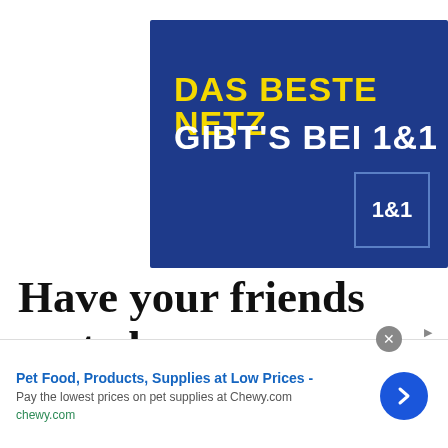[Figure (illustration): 1&1 advertisement banner with dark blue background. Yellow bold text reads 'DAS BESTE NETZ' and white bold text reads 'GIBT'S BEI 1&1'. The 1&1 logo in a bordered box appears in the bottom right.]
Have your friends muted you on Messenger? You will be
[Figure (other): Chewy.com advertisement bar at the bottom. Title: 'Pet Food, Products, Supplies at Low Prices -'. Description: 'Pay the lowest prices on pet supplies at Chewy.com'. URL: 'chewy.com'. Blue arrow button on the right.]